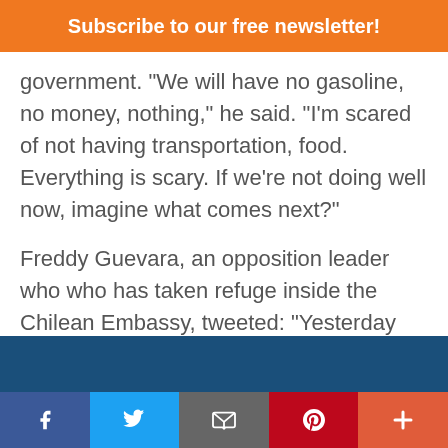Subscribe to our free newsletter!
government. “We will have no gasoline, no money, nothing,” he said. “I’m scared of not having transportation, food. Everything is scary. If we’re not doing well now, imagine what comes next?”
Freddy Guevara, an opposition leader who who has taken refuge inside the Chilean Embassy, tweeted: “Yesterday President Guaidó achieved the protection of the republic’s accounts abroad to avoid further
Social share bar: Facebook, Twitter, Email, Pinterest, More